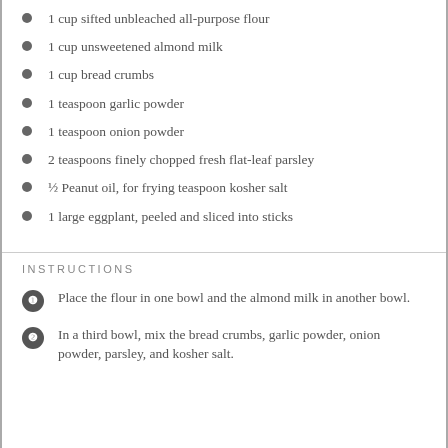1 cup sifted unbleached all-purpose flour
1 cup unsweetened almond milk
1 cup bread crumbs
1 teaspoon garlic powder
1 teaspoon onion powder
2 teaspoons finely chopped fresh flat-leaf parsley
½ Peanut oil, for frying teaspoon kosher salt
1 large eggplant, peeled and sliced into sticks
INSTRUCTIONS
Place the flour in one bowl and the almond milk in another bowl.
In a third bowl, mix the bread crumbs, garlic powder, onion powder, parsley, and kosher salt.